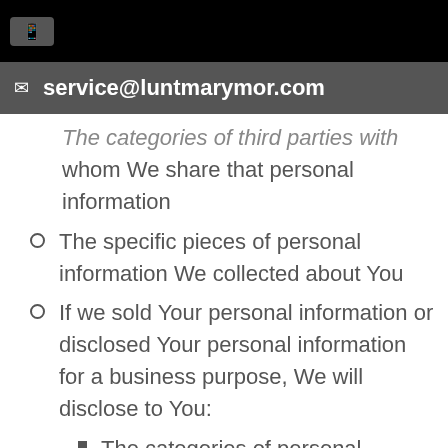service@luntmarymor.com
The categories of third parties with whom We share that personal information
The specific pieces of personal information We collected about You
If we sold Your personal information or disclosed Your personal information for a business purpose, We will disclose to You:
The categories of personal information categories sold